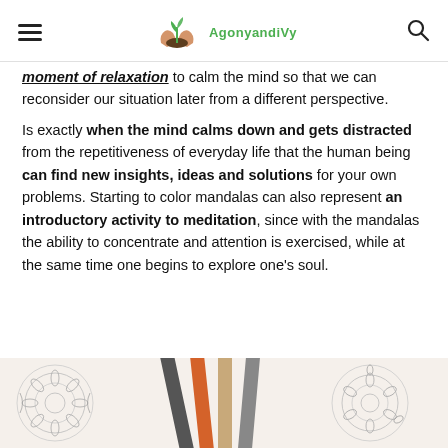AgonyandiVy
moment of relaxation to calm the mind so that we can reconsider our situation later from a different perspective.
Is exactly when the mind calms down and gets distracted from the repetitiveness of everyday life that the human being can find new insights, ideas and solutions for your own problems. Starting to color mandalas can also represent an introductory activity to meditation, since with the mandalas the ability to concentrate and attention is exercised, while at the same time one begins to explore one's soul.
[Figure (photo): Photo of mandala coloring pages with colored pencils on top, showing intricate mandala patterns being colored]